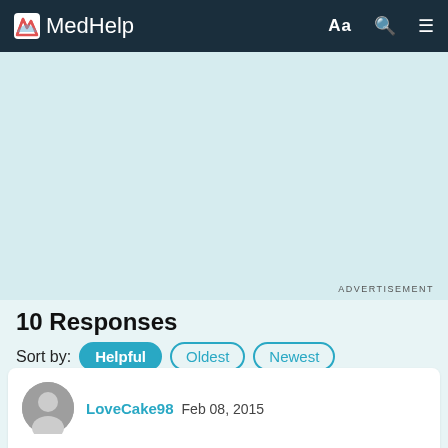MedHelp
[Figure (other): Advertisement banner area (light teal background)]
10 Responses
Sort by: Helpful Oldest Newest
LoveCake98 Feb 08, 2015
A fb message!   Wow, what a loser.  I was confused about why the sister is even aware that he's sleeping